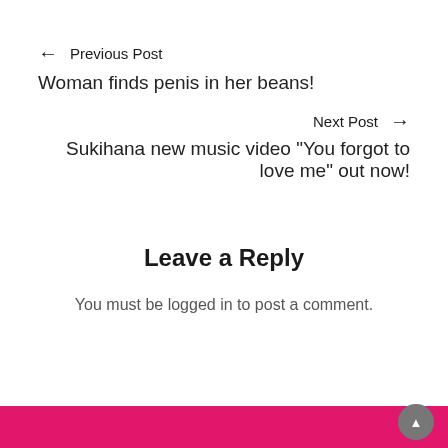← Previous Post
Woman finds penis in her beans!
Next Post →
Sukihana new music video “You forgot to love me” out now!
Leave a Reply
You must be logged in to post a comment.